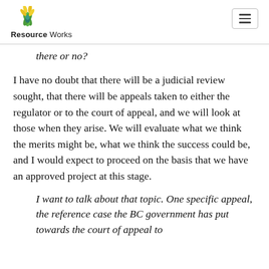Resource Works
there or no?
I have no doubt that there will be a judicial review sought, that there will be appeals taken to either the regulator or to the court of appeal, and we will look at those when they arise. We will evaluate what we think the merits might be, what we think the success could be, and I would expect to proceed on the basis that we have an approved project at this stage.
I want to talk about that topic. One specific appeal, the reference case the BC government has put towards the court of appeal to